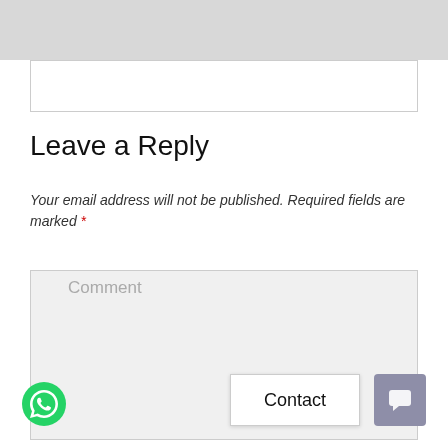[Figure (screenshot): Top gray navigation bar area]
[Figure (screenshot): White input text box at top]
Leave a Reply
Your email address will not be published. Required fields are marked *
[Figure (screenshot): Comment textarea with placeholder text 'Comment']
[Figure (screenshot): Contact button widget]
[Figure (screenshot): Chat/speech bubble button widget]
[Figure (logo): WhatsApp green phone icon button]